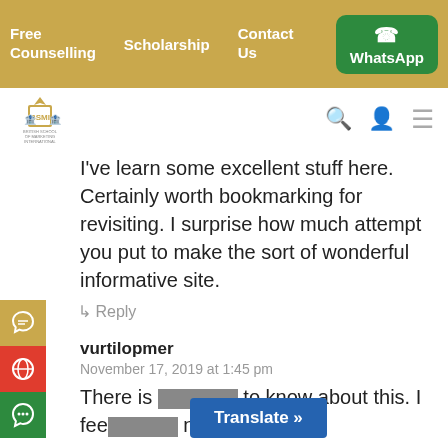Free Counselling  Scholarship  Contact Us  WhatsApp
[Figure (logo): British School of Marketing International logo with crest and lions]
I've learn some excellent stuff here. Certainly worth bookmarking for revisiting. I surprise how much attempt you put to make the sort of wonderful informative site.
↳ Reply
vurtilopmer
November 17, 2019 at 1:45 pm
There is [obscured] to know about this. I fee[obscured] nice points in